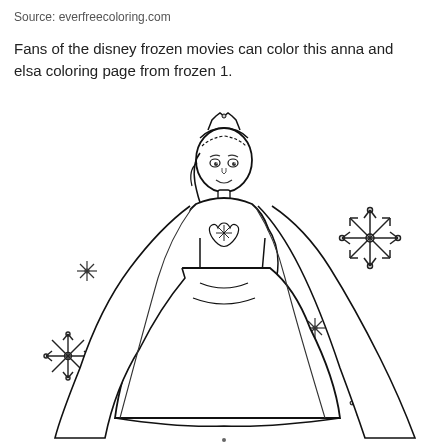Source: everfreecoloring.com
Fans of the disney frozen movies can color this anna and elsa coloring page from frozen 1.
[Figure (illustration): Black and white coloring page illustration of Elsa from Disney Frozen 1, wearing her signature ice gown with a long flowing cape, tiara, and braid. She is surrounded by several snowflake designs of varying sizes. The image is in outline/coloring book style.]